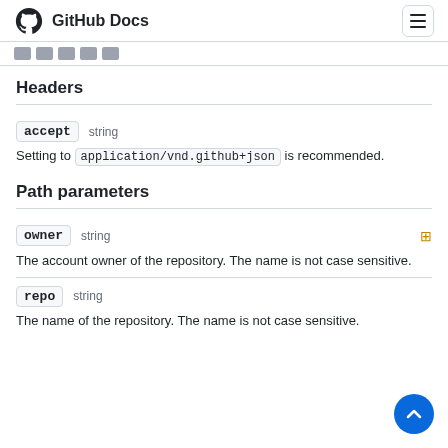GitHub Docs
□□□□□
Headers
accept  string
Setting to application/vnd.github+json is recommended.
Path parameters
owner  string
The account owner of the repository. The name is not case sensitive.
repo  string
The name of the repository. The name is not case sensitive.